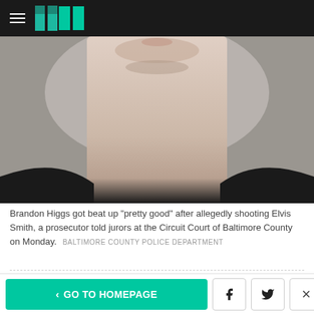[Figure (photo): Mugshot-style photo of Brandon Higgs showing chin and neck area against a gray background, cropped to show lower face and neck only]
Brandon Higgs got beat up "pretty good" after allegedly shooting Elvis Smith, a prosecutor told jurors at the Circuit Court of Baltimore County on Monday. BALTIMORE COUNTY POLICE DEPARTMENT
John Magee, a prosecutor for the state's attorney's office, recounted Higgs's alleged attack to jurors in vivid detail during his opening statement Monday.